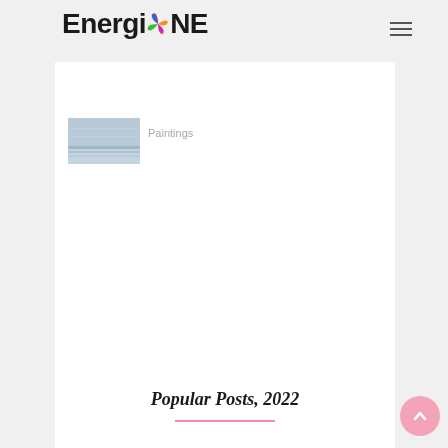EnergiONE
[Figure (logo): EnergiONE logo with colorful swirl replacing the O]
[Figure (photo): Small thumbnail image showing a landscape with horizontal lines]
Paintings
Popular Posts, 2022